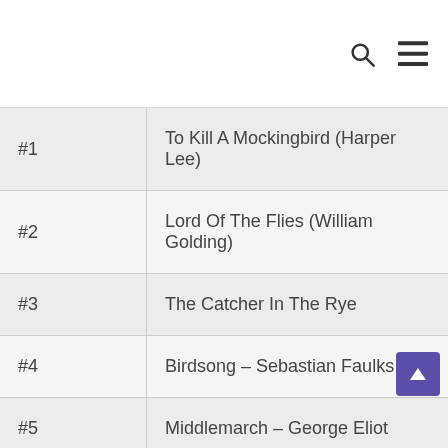search and menu icons
| Rank | Title |
| --- | --- |
| #1 | To Kill A Mockingbird (Harper Lee) |
| #2 | Lord Of The Flies (William Golding) |
| #3 | The Catcher In The Rye |
| #4 | Birdsong – Sebastian Faulks |
| #5 | Middlemarch – George Eliot |
| #6 | Rebecca (Daphne Du Maurier) |
| #7 | The Shadow Of The Wind |
| #8 | Dune |